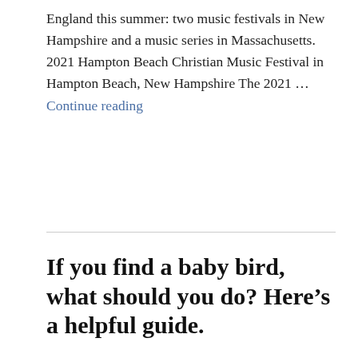England this summer: two music festivals in New Hampshire and a music series in Massachusetts. 2021 Hampton Beach Christian Music Festival in Hampton Beach, New Hampshire The 2021 … Continue reading
If you find a baby bird, what should you do? Here's a helpful guide.
[Figure (photo): Close-up photograph of three baby birds (nestlings/fledglings) huddled together, showing their dark speckled feathers, beaks, and eyes against a blurred brown background.]